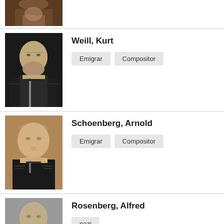[Figure (photo): Partial black and white portrait photo at top of page (cropped from previous entry)]
Weill, Kurt
Emigrar
Compositor
[Figure (photo): Black and white portrait photo of Kurt Weill wearing glasses and a suit]
Schoenberg, Arnold
Emigrar
Compositor
[Figure (photo): Colorized portrait photo of Arnold Schoenberg in a dark suit]
Rosenberg, Alfred
nazi
[Figure (photo): Black and white portrait photo of Alfred Rosenberg, partially visible at bottom]